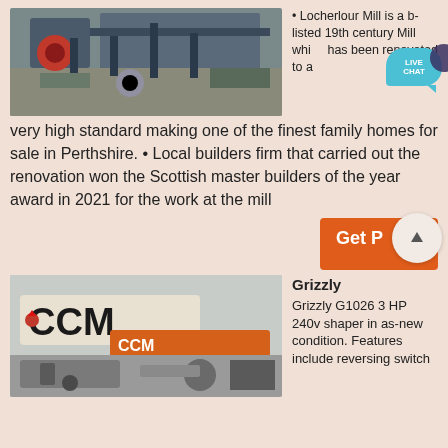[Figure (photo): Industrial machinery / mill equipment with blue frame and red wheels]
Locherlour Mill is a b-listed 19th century Mill which has been renovated to a very high standard making one of the finest family homes for sale in Perthshire. • Local builders firm that carried out the renovation won the Scottish master builders of the year award in 2021 for the work at the mill
Get P
[Figure (photo): Industrial machinery with CCM branding and orange text, woodworking/mill equipment]
Grizzly
Grizzly G1026 3 HP 240v shaper in as-new condition. Features include reversing switch